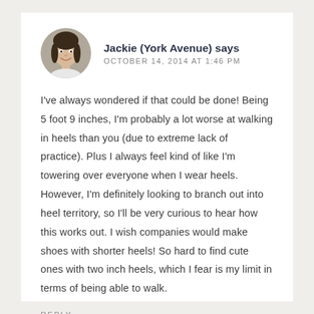[Figure (photo): Circular avatar photo of Jackie, a young woman with dark hair, smiling, outdoors.]
Jackie (York Avenue) says
OCTOBER 14, 2014 AT 1:46 PM
I've always wondered if that could be done! Being 5 foot 9 inches, I'm probably a lot worse at walking in heels than you (due to extreme lack of practice). Plus I always feel kind of like I'm towering over everyone when I wear heels. However, I'm definitely looking to branch out into heel territory, so I'll be very curious to hear how this works out. I wish companies would make shoes with shorter heels! So hard to find cute ones with two inch heels, which I fear is my limit in terms of being able to walk.
REPLY